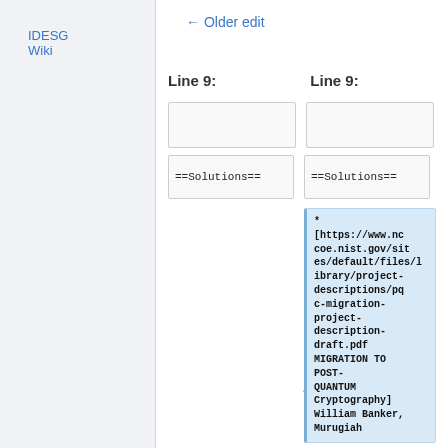IDESG Wiki
← Older edit
Line 9:    Line 9:
==Solutions==    ==Solutions==
* [https://www.nccoe.nist.gov/sites/default/files/library/project-descriptions/pqc-migration-project-description-draft.pdf MIGRATION TO POST-QUANTUM Cryptography] William Banker, Murugiah